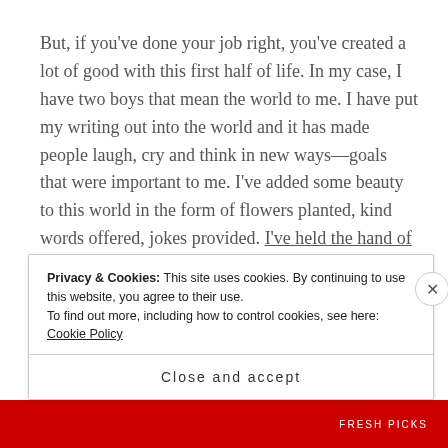But, if you've done your job right, you've created a lot of good with this first half of life. In my case, I have two boys that mean the world to me. I have put my writing out into the world and it has made people laugh, cry and think in new ways—goals that were important to me. I've added some beauty to this world in the form of flowers planted, kind words offered, jokes provided. I've held the hand of loved ones who were dying, letting them know they were anything but alone as they approached the threshold of a new life.
Privacy & Cookies: This site uses cookies. By continuing to use this website, you agree to their use. To find out more, including how to control cookies, see here: Cookie Policy
Close and accept